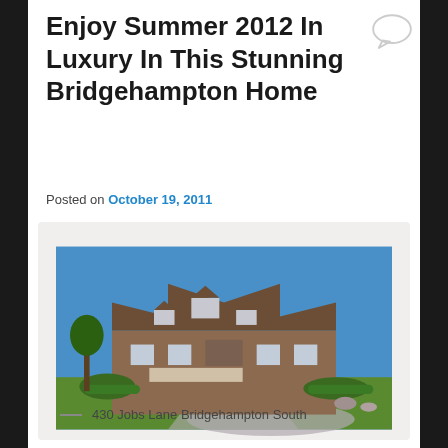Enjoy Summer 2012 In Luxury In This Stunning Bridgehampton Home
Posted on October 19, 2011
[Figure (photo): Exterior photo of a large luxury Shingle-style home in Bridgehampton with blue sky, green lawn, circular driveway, and hedges.]
— 430 Jobs Lane Bridgehampton South